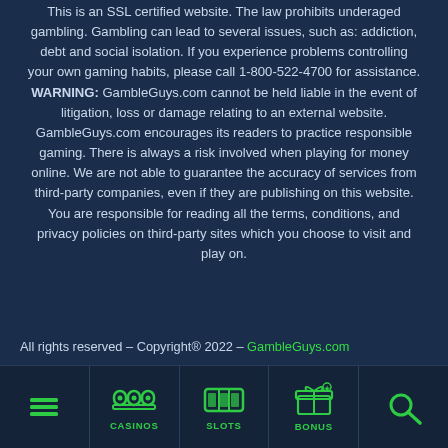This is an SSL certified website. The law prohibits underaged gambling. Gambling can lead to several issues, such as: addiction, debt and social isolation. If you experience problems controlling your own gaming habits, please call 1-800-522-4700 for assistance. WARNING: GambleGuys.com cannot be held liable in the event of litigation, loss or damage relating to an external website. GambleGuys.com encourages its readers to practice responsible gaming. There is always a risk involved when playing for money online. We are not able to guarantee the accuracy of services from third-party companies, even if they are publishing on this website. You are responsible for reading all the terms, conditions, and privacy policies on third-party sites which you choose to visit and play on.
All rights reserved – Copyright® 2022 – GambleGuys.com
[Figure (other): Bottom navigation bar with icons for menu (hamburger), CASINOS (slot machine icon), SLOTS (slot reel icon), BONUS (gift/present icon), and search (magnifying glass icon)]